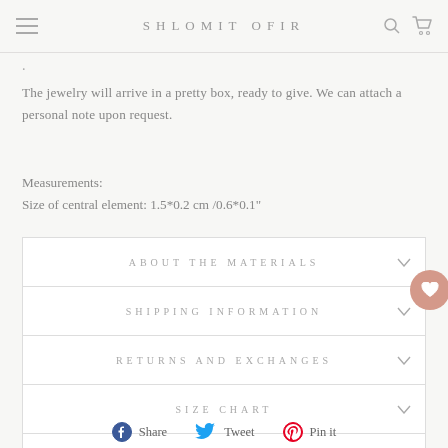SHLOMIT OFIR
The jewelry will arrive in a pretty box, ready to give. We can attach a personal note upon request.
Measurements:
Size of central element: 1.5*0.2 cm /0.6*0.1"
ABOUT THE MATERIALS
SHIPPING INFORMATION
RETURNS AND EXCHANGES
SIZE CHART
ASK A QUESTION
Share  Tweet  Pin it